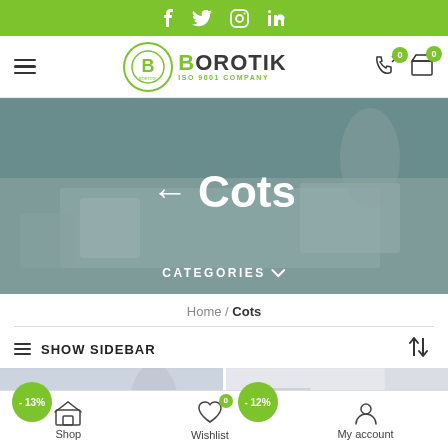Social media icons: Facebook, Twitter, Instagram, LinkedIn
[Figure (logo): Borotik logo with green circle B icon and text BOROTIK ISO 9001 COMPANY]
[Figure (photo): Hero banner with bedroom background image, arrow left and Cots title in white, CATEGORIES dropdown below]
Home / Cots
SHOW SIDEBAR
[Figure (photo): Product thumbnail 1 with -13% green discount badge]
[Figure (photo): Product thumbnail 2 with -12% green discount badge]
Shop | Wishlist 0 | My account